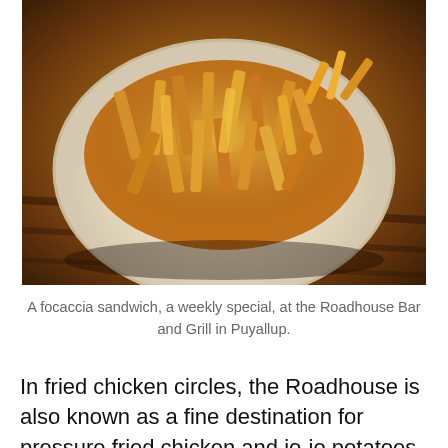[Figure (photo): A plate of french fries (focaccia sandwich) served at Roadhouse Bar and Grill in Puyallup, photographed on a wooden table]
A focaccia sandwich, a weekly special, at the Roadhouse Bar and Grill in Puyallup.
In fried chicken circles, the Roadhouse is also known as a fine destination for pressure fried chicken and jo-jo potatoes (put Roadhouse on your broasted chicken tour along with Summit Pub, Loose Wheel, Hans's Place, 2121 Tavern, Terry's Office Tavern and Anglea's).